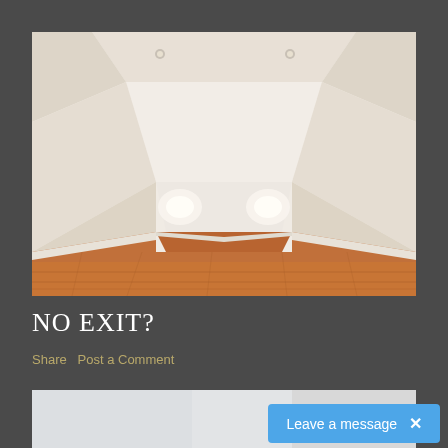[Figure (illustration): 3D rendering of an empty room with white walls, recessed ceiling with lighting, and warm brown hardwood floor. Perspective view showing the far wall with wall sconce lighting and converging floor planks.]
NO EXIT?
Share   Post a Comment
[Figure (photo): Partial view of a second image at the bottom of the page, appearing to show a light gray/white background.]
Leave a message  ×